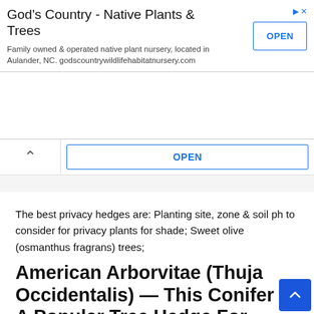[Figure (screenshot): Advertisement banner for God's Country - Native Plants & Trees with an OPEN button and ad indicator arrows]
The best privacy hedges are: Planting site, zone & soil ph to consider for privacy plants for shade; Sweet olive (osmanthus fragrans) trees;
American Arborvitae (Thuja Occidentalis) — This Conifer Is A Popular Tree Hedge For Keeping Yards Secluded.